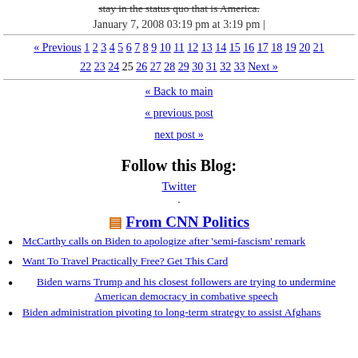stay in the status quo that is America.
January 7, 2008 03:19 pm at 3:19 pm |
« Previous 1 2 3 4 5 6 7 8 9 10 11 12 13 14 15 16 17 18 19 20 21 22 23 24 25 26 27 28 29 30 31 32 33 Next »
« Back to main
« previous post
next post »
Follow this Blog:
Twitter
From CNN Politics
McCarthy calls on Biden to apologize after 'semi-fascism' remark
Want To Travel Practically Free? Get This Card
Biden warns Trump and his closest followers are trying to undermine American democracy in combative speech
Biden administration pivoting to long-term strategy to assist Afghans